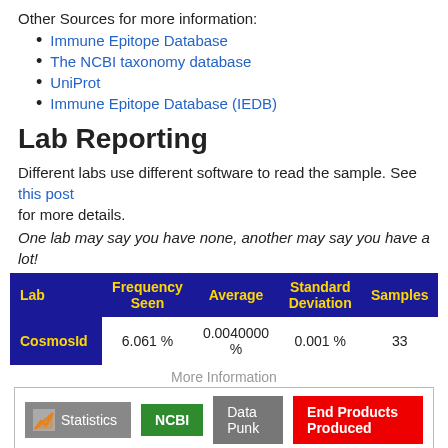Other Sources for more information:
Immune Epitope Database
The NCBI taxonomy database
UniProt
Immune Epitope Database (IEDB)
Lab Reporting
Different labs use different software to read the sample. See this post for more details.
One lab may say you have none, another may say you have a lot!
| Lab | Frequency Seen | Average | Standard Deviation | Samples |
| --- | --- | --- | --- | --- |
| CosmosId | 6.061 % | 0.0040000 % | 0.001 % | 33 |
More Information
[Figure (infographic): Row of buttons: Statistics (grey with icon), NCBI (green), Data Punk (grey), End Products Produced (red)]
Recommended reading: Taxonomy Nightmare
Desired Levels Suggestions